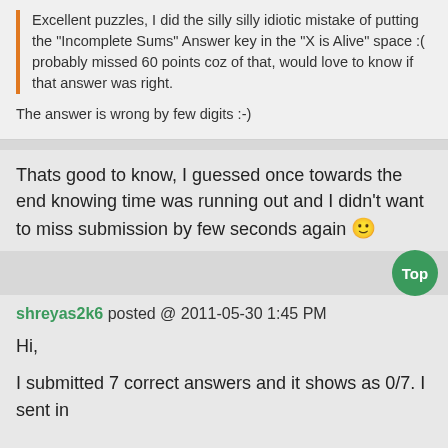Excellent puzzles, I did the silly silly idiotic mistake of putting the "Incomplete Sums" Answer key in the "X is Alive" space :( probably missed 60 points coz of that, would love to know if that answer was right.
The answer is wrong by few digits :-)
Thats good to know, I guessed once towards the end knowing time was running out and I didn't want to miss submission by few seconds again 🙂
Top
shreyas2k6 posted @ 2011-05-30 1:45 PM
Hi,
I submitted 7 correct answers and it shows as 0/7. I sent in